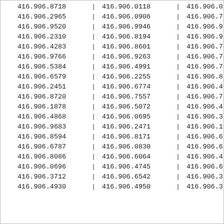| 416.906.8718 | | | 416.906.0118 | | | 416.906.0517 | | |
| 416.906.2965 | | | 416.906.0906 | | | 416.906.7187 | | |
| 416.906.9520 | | | 416.906.9946 | | | 416.906.9916 | | |
| 416.906.2310 | | | 416.906.8194 | | | 416.906.9765 | | |
| 416.906.4283 | | | 416.906.8601 | | | 416.906.7444 | | |
| 416.906.9766 | | | 416.906.9263 | | | 416.906.7227 | | |
| 416.906.5384 | | | 416.906.4991 | | | 416.906.7028 | | |
| 416.906.6579 | | | 416.906.2255 | | | 416.906.8825 | | |
| 416.906.2451 | | | 416.906.6774 | | | 416.906.4005 | | |
| 416.906.8720 | | | 416.906.7557 | | | 416.906.7368 | | |
| 416.906.1878 | | | 416.906.5072 | | | 416.906.4679 | | |
| 416.906.4868 | | | 416.906.0695 | | | 416.906.3519 | | |
| 416.906.9683 | | | 416.906.2471 | | | 416.906.1704 | | |
| 416.906.8594 | | | 416.906.8171 | | | 416.906.6655 | | |
| 416.906.6787 | | | 416.906.0830 | | | 416.906.6807 | | |
| 416.906.8086 | | | 416.906.6064 | | | 416.906.4825 | | |
| 416.906.0696 | | | 416.906.4745 | | | 416.906.6067 | | |
| 416.906.3712 | | | 416.906.6542 | | | 416.906.3646 | | |
| 416.906.4930 | | | 416.906.4950 | | | 416.906.3107 | | |